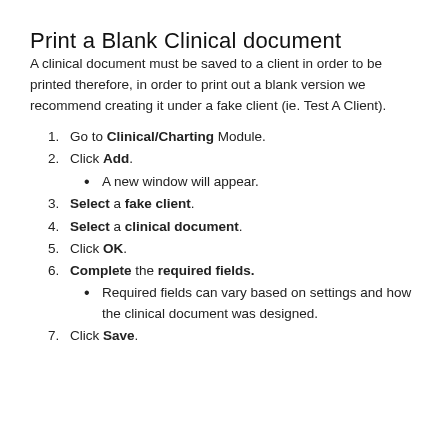Print a Blank Clinical document
A clinical document must be saved to a client in order to be printed therefore, in order to print out a blank version we recommend creating it under a fake client (ie. Test A Client).
1. Go to Clinical/Charting Module.
2. Click Add.
A new window will appear.
3. Select a fake client.
4. Select a clinical document.
5. Click OK.
6. Complete the required fields.
Required fields can vary based on settings and how the clinical document was designed.
7. Click Save.